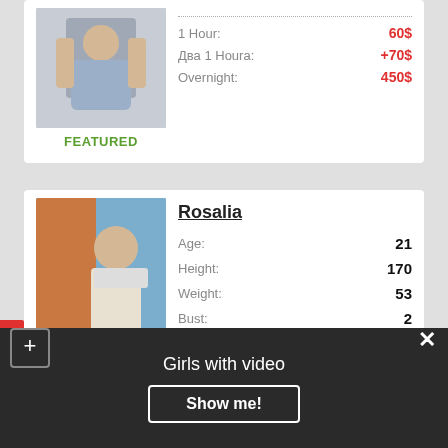[Figure (photo): Person photo in top listing card]
FEATURED
1 Hour: 60$
Два 1 Houra: +70$
Overnight: 450$
[Figure (photo): Young woman photo for Rosalia listing]
Rosalia
Age: 21
Height: 170
Weight: 53
Bust: 2
1 Hour: 250$
Два 1 Houra: +60$
Overnight: 400$
Girls with video
Show me!